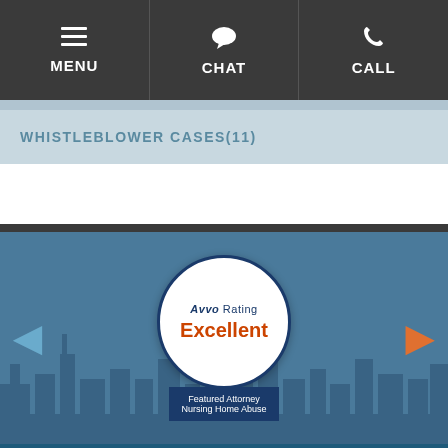MENU | CHAT | CALL
WHISTLEBLOWER CASES(11)
[Figure (infographic): Avvo Rating badge showing 'Excellent' rating for Featured Attorney Nursing Home Abuse, with city skyline background and navigation arrows]
OFFICE LOCATIONS